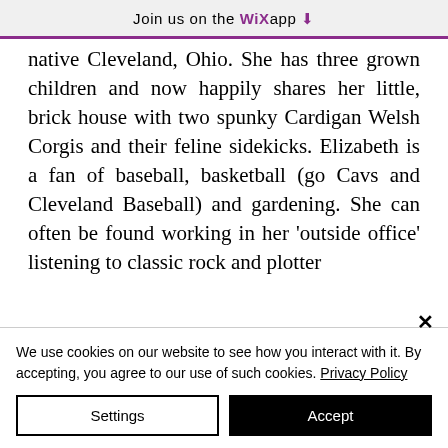Join us on the WiX app ↓
native Cleveland, Ohio. She has three grown children and now happily shares her little, brick house with two spunky Cardigan Welsh Corgis and their feline sidekicks. Elizabeth is a fan of baseball, basketball (go Cavs and Cleveland Baseball) and gardening. She can often be found working in her 'outside office' listening to classic rock and plotter
We use cookies on our website to see how you interact with it. By accepting, you agree to our use of such cookies. Privacy Policy
Settings
Accept